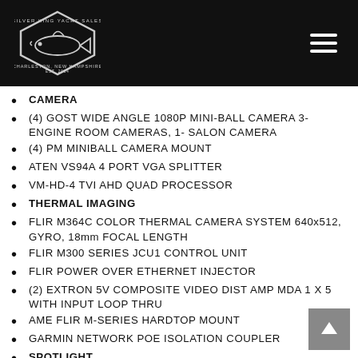[Figure (logo): Silver King Yacht Sales logo with fish graphic on black background, hamburger menu icon top right]
CAMERA
(4) GOST WIDE ANGLE 1080P MINI-BALL CAMERA 3-ENGINE ROOM CAMERAS, 1- SALON CAMERA
(4) PM MINIBALL CAMERA MOUNT
ATEN VS94A 4 PORT VGA SPLITTER
VM-HD-4 TVI AHD QUAD PROCESSOR
THERMAL IMAGING
FLIR M364C COLOR THERMAL CAMERA SYSTEM 640x512, GYRO, 18mm FOCAL LENGTH
FLIR M300 SERIES JCU1 CONTROL UNIT
FLIR POWER OVER ETHERNET INJECTOR
(2) EXTRON 5V COMPOSITE VIDEO DIST AMP MDA 1 X 5 WITH INPUT LOOP THRU
AME FLIR M-SERIES HARDTOP MOUNT
GARMIN NETWORK POE ISOLATION COUPLER
SPOTLIGHT
ACR RCL100 LED SPOTLIGHT W/ CONTROLLER
SATTV